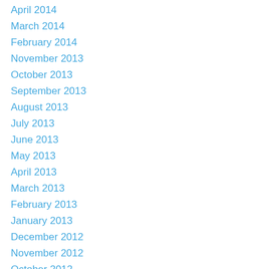April 2014
March 2014
February 2014
November 2013
October 2013
September 2013
August 2013
July 2013
June 2013
May 2013
April 2013
March 2013
February 2013
January 2013
December 2012
November 2012
October 2012
September 2012
August 2012
June 2012